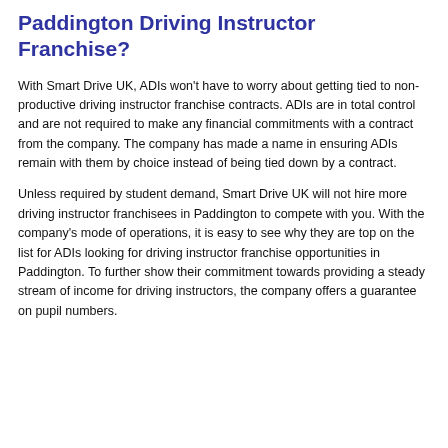Paddington Driving Instructor Franchise?
With Smart Drive UK, ADIs won't have to worry about getting tied to non-productive driving instructor franchise contracts. ADIs are in total control and are not required to make any financial commitments with a contract from the company. The company has made a name in ensuring ADIs remain with them by choice instead of being tied down by a contract.
Unless required by student demand, Smart Drive UK will not hire more driving instructor franchisees in Paddington to compete with you. With the company's mode of operations, it is easy to see why they are top on the list for ADIs looking for driving instructor franchise opportunities in Paddington. To further show their commitment towards providing a steady stream of income for driving instructors, the company offers a guarantee on pupil numbers.